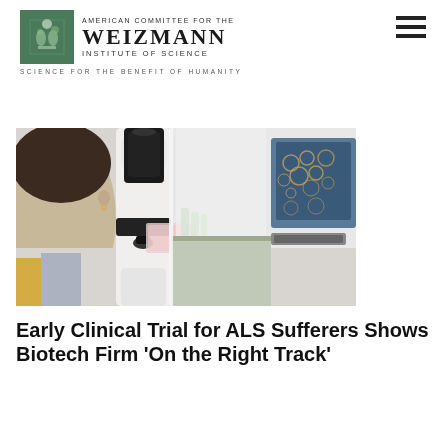American Committee for the Weizmann Institute of Science — Science for the Benefit of Humanity
[Figure (photo): A researcher looking through a microscope in a laboratory, with a computer monitor displaying cell imagery in the background.]
Early Clinical Trial for ALS Sufferers Shows Biotech Firm 'On the Right Track'